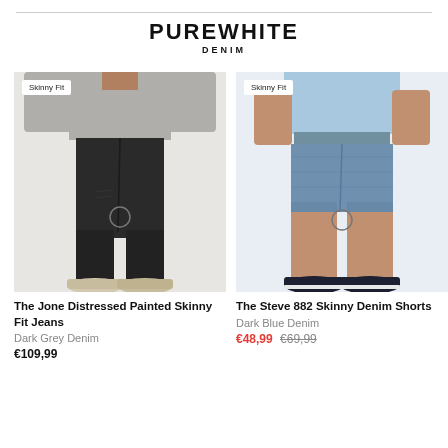PUREWHITE DENIM
[Figure (photo): Man wearing black skinny fit distressed jeans with beige sneakers, upper body in grey sweatshirt, with 'Skinny Fit' tag overlay]
The Jone Distressed Painted Skinny Fit Jeans
Dark Grey Denim
€109,99
[Figure (photo): Man wearing dark blue denim shorts (skinny fit) with dark navy sneakers, light blue shirt, with 'Skinny Fit' tag overlay]
The Steve 882 Skinny Denim Shorts
Dark Blue Denim
€48,99 €69,99